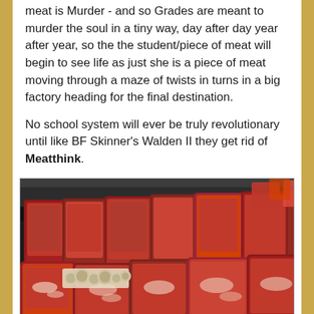meat is Murder - and so Grades are meant to murder the soul in a tiny way, day after day year after year, so the the student/piece of meat will begin to see life as just she is a piece of meat moving through a maze of twists in turns in a big factory heading for the final destination.
No school system will ever be truly revolutionary until like BF Skinner's Walden II they get rid of Meatthink.
[Figure (photo): A glass display case in a butcher shop or grocery store showing large cuts of red meat arranged in rows, with a small strip of white mushrooms visible among the meat cuts. The background shows dark shelving.]
The tiny strip of mushrooms represent fringe freethinkers like Ben Franklin and Zamboni!!